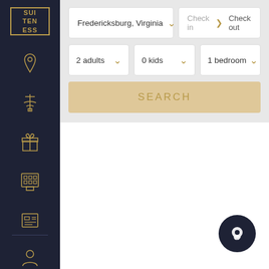[Figure (logo): Suiteness logo - gold bordered box with stylized SUI TEN ESS text]
[Figure (illustration): Left sidebar navigation with gold icons: location pin, airport/tower, gift box, building/hotel, receipt/document, and user profile icon at bottom]
[Figure (screenshot): Search form UI with location dropdown 'Fredericksburg, Virginia', check in / check out date fields, 2 adults dropdown, 0 kids dropdown, 1 bedroom dropdown, and a SEARCH button]
[Figure (illustration): Dark circular chat/support button in bottom right corner]